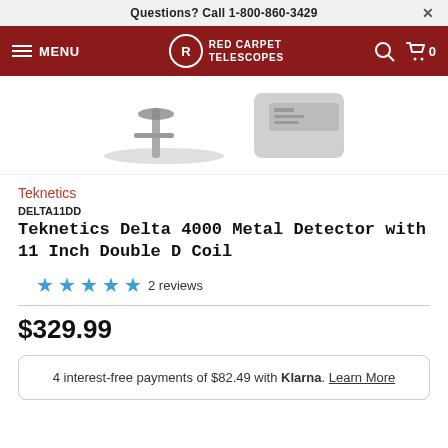Questions? Call 1-800-860-3429
[Figure (screenshot): Red Carpet Telescopes navigation bar with hamburger menu, logo, search and cart icons on dark red background]
[Figure (photo): Partial product image showing Teknetics Delta 4000 metal detector with coil and control box]
Teknetics
DELTA11DD Teknetics Delta 4000 Metal Detector with 11 Inch Double D Coil
★★★★★ 2 reviews
$329.99
4 interest-free payments of $82.49 with Klarna. Learn More